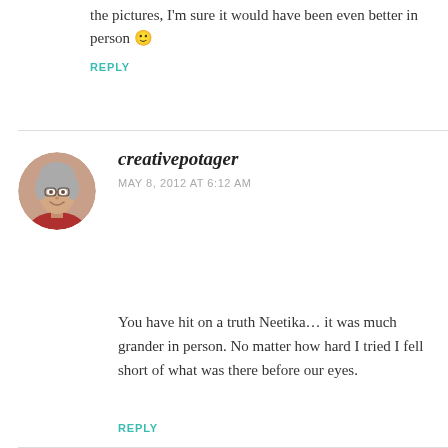the pictures, I'm sure it would have been even better in person 🙂
REPLY
[Figure (photo): Circular avatar photo of a smiling older woman with gray hair and glasses]
creativepotager
MAY 8, 2012 AT 6:12 AM
You have hit on a truth Neetika… it was much grander in person. No matter how hard I tried I fell short of what was there before our eyes.
REPLY